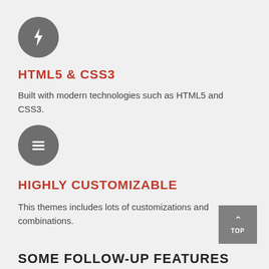[Figure (illustration): Dark grey circle with a white lightning bolt icon]
HTML5 & CSS3
Built with modern technologies such as HTML5 and CSS3.
[Figure (illustration): Dark grey circle with a white stacked lines / database icon]
HIGHLY CUSTOMIZABLE
This themes includes lots of customizations and combinations.
[Figure (illustration): Grey square button with up arrow and TOP label]
SOME FOLLOW-UP FEATURES